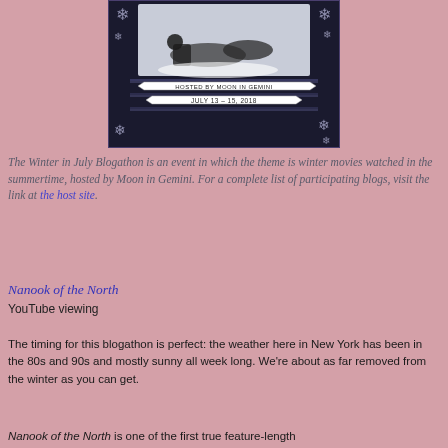[Figure (photo): Winter in July Blogathon banner image showing a person lying in snow with decorative snowflake borders, hosted by Moon in Gemini, July 13-15, 2018]
The Winter in July Blogathon is an event in which the theme is winter movies watched in the summertime, hosted by Moon in Gemini. For a complete list of participating blogs, visit the link at the host site.
Nanook of the North
YouTube viewing
The timing for this blogathon is perfect: the weather here in New York has been in the 80s and 90s and mostly sunny all week long. We're about as far removed from the winter as you can get.
Nanook of the North is one of the first true feature-length